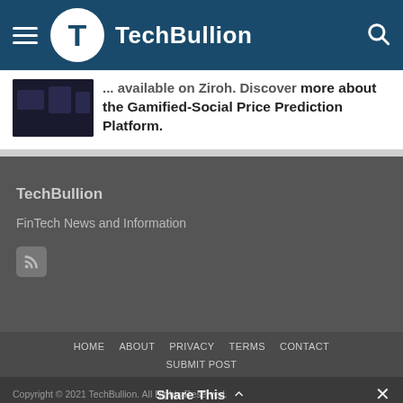TechBullion
...available on Ziroh. Discover more about the Gamified-Social Price Prediction Platform.
TechBullion
FinTech News and Information
HOME   ABOUT   PRIVACY   TERMS   CONTACT   SUBMIT POST
Copyright © 2021 TechBullion. All Rights Reserved.
Share This